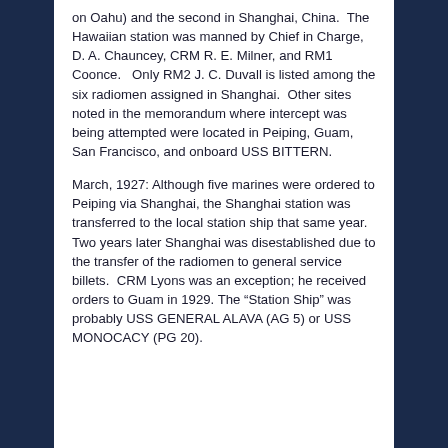on Oahu) and the second in Shanghai, China. The Hawaiian station was manned by Chief in Charge, D. A. Chauncey, CRM R. E. Milner, and RM1 Coonce. Only RM2 J. C. Duvall is listed among the six radiomen assigned in Shanghai. Other sites noted in the memorandum where intercept was being attempted were located in Peiping, Guam, San Francisco, and onboard USS BITTERN.
March, 1927: Although five marines were ordered to Peiping via Shanghai, the Shanghai station was transferred to the local station ship that same year. Two years later Shanghai was disestablished due to the transfer of the radiomen to general service billets. CRM Lyons was an exception; he received orders to Guam in 1929. The “Station Ship” was probably USS GENERAL ALAVA (AG 5) or USS MONOCACY (PG 20).